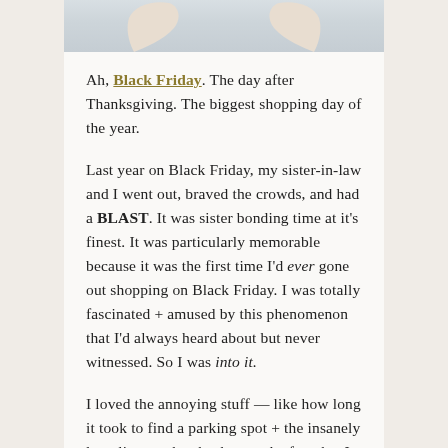[Figure (photo): Partial image of cream-colored items (possibly shoes or decorative objects) against a light blue-gray background, cropped at top of page]
Ah, Black Friday. The day after Thanksgiving. The biggest shopping day of the year.
Last year on Black Friday, my sister-in-law and I went out, braved the crowds, and had a BLAST. It was sister bonding time at it's finest. It was particularly memorable because it was the first time I'd ever gone out shopping on Black Friday. I was totally fascinated + amused by this phenomenon that I'd always heard about but never witnessed. So I was into it.
I loved the annoying stuff — like how long it took to find a parking spot + the insanely long lines at the checkout + the fact that I couldn't go 10 steps without bumping into someone. I was having the